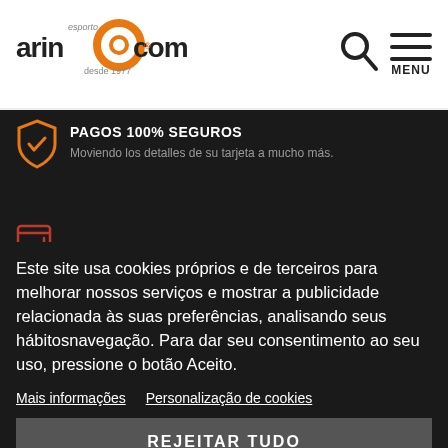[Figure (logo): Arinocom sports store logo with orange circular graphic and text 'arinocom desde 1977']
[Figure (illustration): Search icon (magnifying glass) and hamburger menu icon with MENU label]
[Figure (illustration): Shield/security icon in orange outline on dark background]
PAGOS 100% SEGUROS
Moviendo los detalles de su tarjeta a mucho más.
[Figure (illustration): Card/tap payment icon in orange/red outline on dark background]
Este site usa cookies próprios e de terceiros para melhorar nossos serviços e mostrar a publicidade relacionada às suas preferências, analisando seus hábitosnavegação. Para dar seu consentimento ao seu uso, pressione o botão Aceito.
Mais informações   Personalização de cookies
REJEITAR TUDO
ACEITO